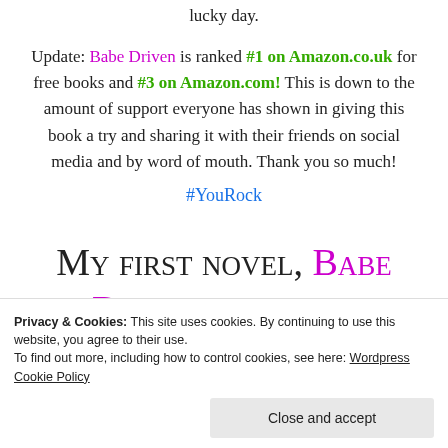lucky day.
Update: Babe Driven is ranked #1 on Amazon.co.uk for free books and #3 on Amazon.com! This is down to the amount of support everyone has shown in giving this book a try and sharing it with their friends on social media and by word of mouth. Thank you so much! #YouRock
My first novel, Babe Driven is free to
Privacy & Cookies: This site uses cookies. By continuing to use this website, you agree to their use. To find out more, including how to control cookies, see here: Wordpress Cookie Policy